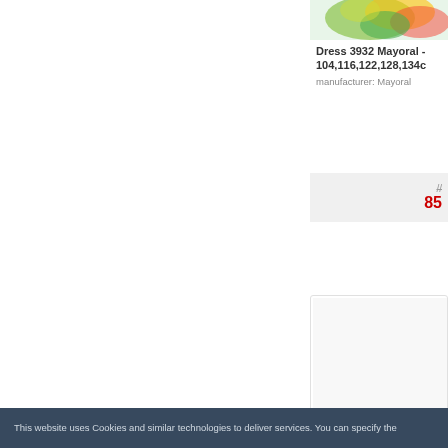[Figure (photo): Colorful dress product photo with green, yellow and red tones]
Dress 3932 Mayoral - 104,116,122,128,134c
manufacturer: Mayoral
85
[Figure (photo): Second dress product image area (Dress 3954 Mayoral)]
Dress 3954 Mayoral - T
manufacturer: Mayoral
This website uses Cookies and similar technologies to deliver services. You can specify the